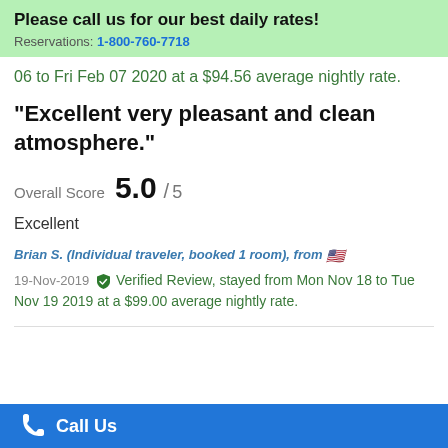Please call us for our best daily rates! Reservations: 1-800-760-7718
06 to Fri Feb 07 2020 at a $94.56 average nightly rate.
"Excellent very pleasant and clean atmosphere."
Overall Score 5.0 / 5
Excellent
Brian S. (Individual traveler, booked 1 room), from 🇺🇸
19-Nov-2019 Verified Review, stayed from Mon Nov 18 to Tue Nov 19 2019 at a $99.00 average nightly rate.
Call Us